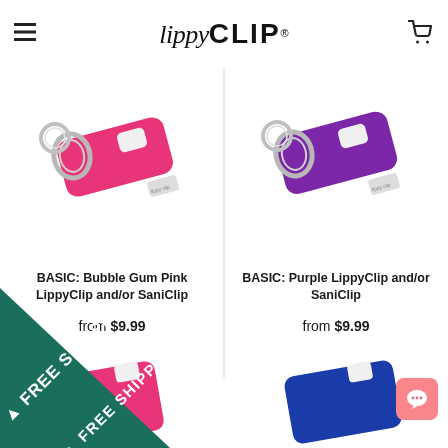lippyCLIP®
[Figure (photo): Bubble Gum Pink LippyClip product photo showing pink lip balm holder with metal keyring clip]
BASIC: Bubble Gum Pink LippyClip and/or SaniClip
from $9.99
[Figure (photo): Purple LippyClip product photo showing purple lip balm holder with metal keyring clip]
BASIC: Purple LippyClip and/or SaniClip
from $9.99
[Figure (photo): FREE SHIPPING diagonal banner in teal/green in bottom left corner]
[Figure (photo): Partial view of two more product clips at bottom of page]